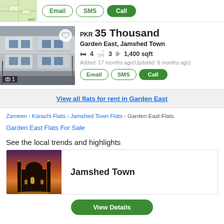[Figure (screenshot): Top navigation bar with map thumbnail and Email, SMS, Call buttons]
[Figure (photo): Apartment building exterior photo with heart icon and photo count badge showing 1]
PKR 35 Thousand
Garden East, Jamshed Town
4 bedrooms, 3 bathrooms, 1,400 sqft
Added: 17 months ago(Updated: 6 months ago)
Email SMS Call
View all flats for rent in Garden East
Zameen > Karachi Flats > Jamshed Town Flats > Garden East Flats
Garden East Flats For Sale
See the local trends and highlights
[Figure (photo): Jamshed Town mosque at sunset/dusk photo]
Jamshed Town